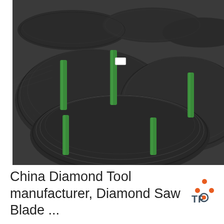[Figure (photo): Large coils of black steel wire/spring steel bundled with green straps, stacked in a warehouse. Overlaid with a customer service chat widget showing a woman with a headset, '24/7 Online' text, 'Click here for free chat!' and a QUOTATION button.]
China Diamond Tool manufacturer, Diamond Saw Blade ...
[Figure (logo): TOP logo with orange dots arranged in a triangle above the word TOP with an orange dot in the O.]